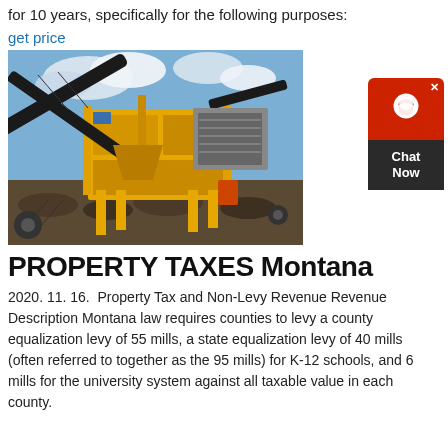for 10 years, specifically for the following purposes:
get price
[Figure (photo): Yellow industrial mining/crushing machine with conveyor belts, photographed outdoors with a cloudy sky background.]
[Figure (other): Chat Now widget: red bubble with headset icon and dark bottom section with 'Chat Now' text.]
PROPERTY TAXES Montana
2020. 11. 16.  Property Tax and Non-Levy Revenue Revenue Description Montana law requires counties to levy a county equalization levy of 55 mills, a state equalization levy of 40 mills (often referred to together as the 95 mills) for K-12 schools, and 6 mills for the university system against all taxable value in each county.